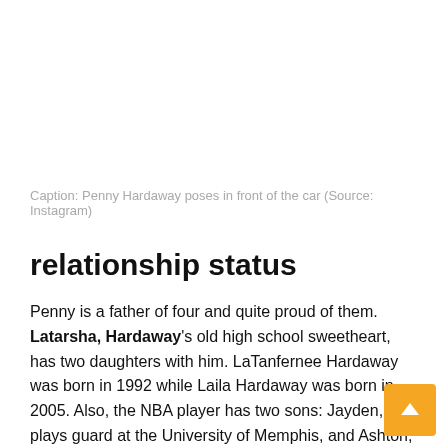Caption: Penny Hardaway poses in front of the car (Source: Instagram)
relationship status
Penny is a father of four and quite proud of them. Latarsha, Hardaway's old high school sweetheart, has two daughters with him. LaTanfernee Hardaway was born in 1992 while Laila Hardaway was born in 2005. Also, the NBA player has two sons: Jayden, who plays guard at the University of Memphis, and Ashton, who attends high school.